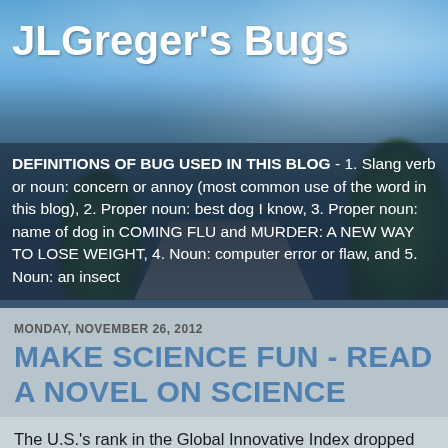[Figure (photo): Blog header with outdoor sky and road background image, blurred, with trees on sides]
JLGreger's Bugs
DEFINITIONS OF BUG USED IN THIS BLOG - 1. Slang verb or noun: concern or annoy (most common use of the word in this blog), 2. Proper noun: best dog I know, 3. Proper noun: name of dog in COMING FLU and MURDER: A NEW WAY TO LOSE WEIGHT, 4. Noun: computer error or flaw, and 5. Noun: an insect
MONDAY, NOVEMBER 26, 2012
MAKE SCIENCE FUN - READ A NOVEL ON SCIENCE
The U.S.'s rank in the Global Innovative Index dropped from 7th to 10th this year. The validity of the survey published by the World Intellectual Property Organization, an agency of